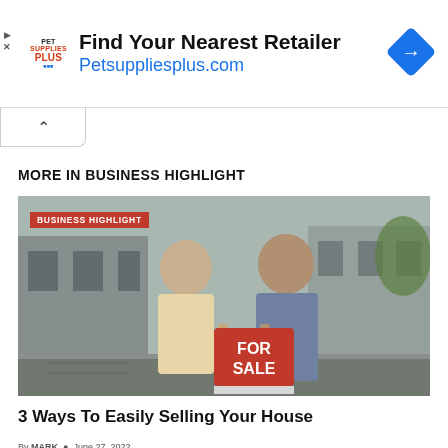[Figure (other): Pet Supplies Plus advertisement banner: logo on left, 'Find Your Nearest Retailer' text and 'Petsuppliesplus.com' URL in blue, blue diamond navigation icon on right]
[Figure (other): Collapse/chevron up button UI element]
MORE IN BUSINESS HIGHLIGHT
[Figure (photo): Photo of a smiling couple (woman in cream top, man in grey t-shirt) holding a red 'FOR SALE' sign, standing outside a modern house. A red 'BUSINESS HIGHLIGHT' label tag appears in the upper left of the photo.]
3 Ways To Easily Selling Your House
By MARK  ·  June 27, 2022